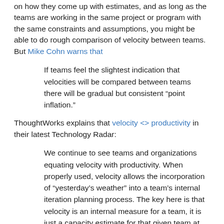on how they come up with estimates, and as long as the teams are working in the same project or program with the same constraints and assumptions, you might be able to do rough comparison of velocity between teams. But Mike Cohn warns that
If teams feel the slightest indication that velocities will be compared between teams there will be gradual but consistent “point inflation.”
ThoughtWorks explains that velocity <> productivity in their latest Technology Radar:
We continue to see teams and organizations equating velocity with productivity. When properly used, velocity allows the incorporation of “yesterday’s weather” into a team’s internal iteration planning process. The key here is that velocity is an internal measure for a team, it is just a capacity estimate for that given team at that given time. Organizations and managers who equate internal velocity with external productivity start to set targets for velocity,